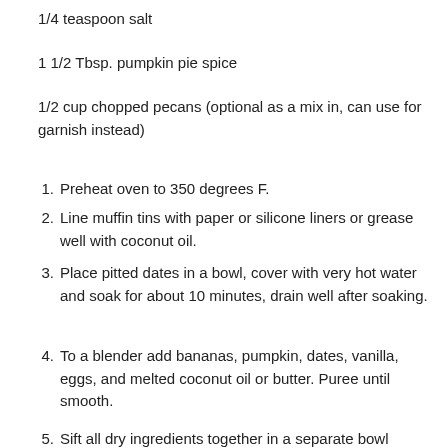1/4 teaspoon salt
1 1/2 Tbsp. pumpkin pie spice
1/2 cup chopped pecans (optional as a mix in, can use for garnish instead)
1. Preheat oven to 350 degrees F.
2. Line muffin tins with paper or silicone liners or grease well with coconut oil.
3. Place pitted dates in a bowl, cover with very hot water and soak for about 10 minutes, drain well after soaking.
4. To a blender add bananas, pumpkin, dates, vanilla, eggs, and melted coconut oil or butter.  Puree until smooth.
5. Sift all dry ingredients together in a separate bowl